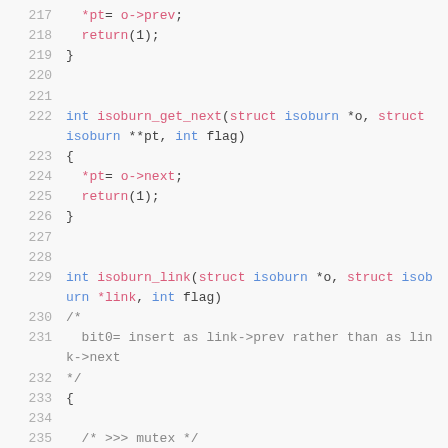[Figure (screenshot): Source code listing in C, lines 217-235, showing isoburn_get_next and isoburn_link function definitions with syntax highlighting (blue keywords, red function/member names, gray comments). Monospace font on light gray background.]